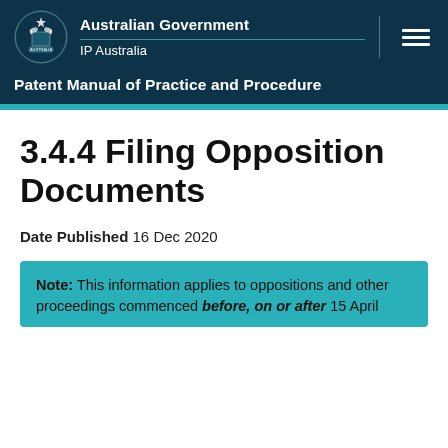Australian Government | IP Australia | Patent Manual of Practice and Procedure
3.4.4 Filing Opposition Documents
Date Published 16 Dec 2020
Note: This information applies to oppositions and other proceedings commenced before, on or after 15 April